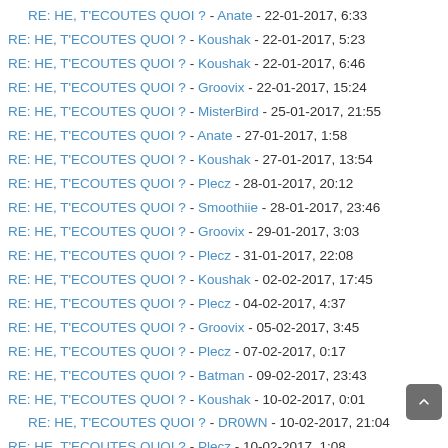RE: HE, T'ECOUTES QUOI ? - Anate - 22-01-2017, 6:33
RE: HE, T'ECOUTES QUOI ? - Koushak - 22-01-2017, 5:23
RE: HE, T'ECOUTES QUOI ? - Koushak - 22-01-2017, 6:46
RE: HE, T'ECOUTES QUOI ? - Groovix - 22-01-2017, 15:24
RE: HE, T'ECOUTES QUOI ? - MisterBird - 25-01-2017, 21:55
RE: HE, T'ECOUTES QUOI ? - Anate - 27-01-2017, 1:58
RE: HE, T'ECOUTES QUOI ? - Koushak - 27-01-2017, 13:54
RE: HE, T'ECOUTES QUOI ? - Plecz - 28-01-2017, 20:12
RE: HE, T'ECOUTES QUOI ? - Smoothiie - 28-01-2017, 23:46
RE: HE, T'ECOUTES QUOI ? - Groovix - 29-01-2017, 3:03
RE: HE, T'ECOUTES QUOI ? - Plecz - 31-01-2017, 22:08
RE: HE, T'ECOUTES QUOI ? - Koushak - 02-02-2017, 17:45
RE: HE, T'ECOUTES QUOI ? - Plecz - 04-02-2017, 4:37
RE: HE, T'ECOUTES QUOI ? - Groovix - 05-02-2017, 3:45
RE: HE, T'ECOUTES QUOI ? - Plecz - 07-02-2017, 0:17
RE: HE, T'ECOUTES QUOI ? - Batman - 09-02-2017, 23:43
RE: HE, T'ECOUTES QUOI ? - Koushak - 10-02-2017, 0:01
RE: HE, T'ECOUTES QUOI ? - DR0WN - 10-02-2017, 21:04
RE: HE, T'ECOUTES QUOI ? - Plecz - 10-02-2017, 1:08
RE: HE, T'ECOUTES QUOI ? - Koushak - 10-02-2017, 21:32
RE: HE, T'ECOUTES QUOI ? - Sushimimi - 10-02-2017, 21:44
RE: HE, T'ECOUTES QUOI ? - Koushak - 10-02-2017, 22:09
RE: HE, T'ECOUTES QUOI ? - Anate - 10-02-2017, 22:21